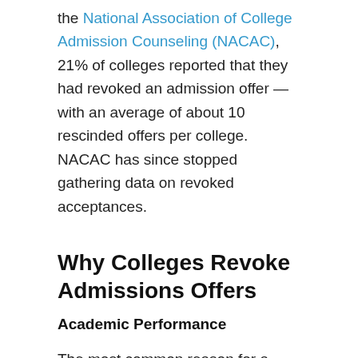the National Association of College Admission Counseling (NACAC), 21% of colleges reported that they had revoked an admission offer — with an average of about 10 rescinded offers per college. NACAC has since stopped gathering data on revoked acceptances.
Why Colleges Revoke Admissions Offers
Academic Performance
The most common reason for a college to withdraw an acceptance is due to low grades. In fact, this represents 65% of all withdrawn offers in the 2009 NACAC report.